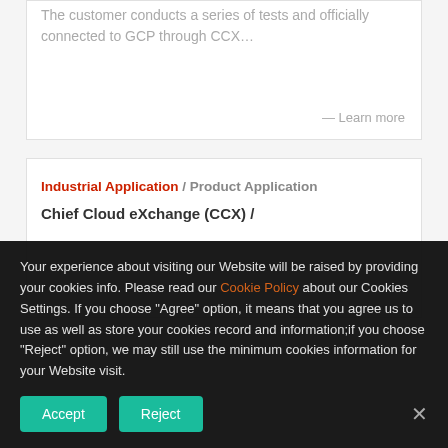The customer conducts a series of tests and officially connected to GCP through CCX…
— Learn more
Industrial Application / Product Application
Chief Cloud eXchange (CCX) /
Your experience about visiting our Website will be raised by providing your cookies info. Please read our Cookie Policy about our Cookies Settings. If you choose "Agree" option, it means that you agree us to use as well as store your cookies record and information;if you choose "Reject" option, we may still use the minimum cookies information for your Website visit.
Accept
Reject